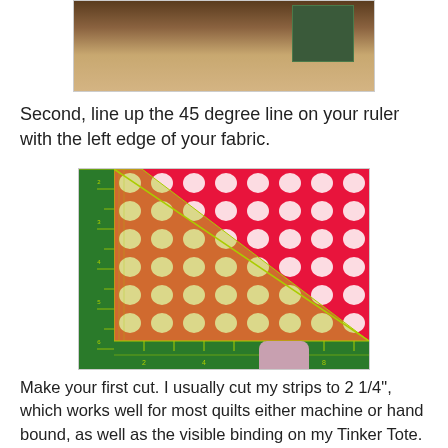[Figure (photo): Top portion of photo showing a wooden floor and a green cutting mat with fabric/materials on it]
Second, line up the 45 degree line on your ruler with the left edge of your fabric.
[Figure (photo): Photo of a red polka-dot fabric on a green cutting mat with a quilting ruler placed diagonally at 45 degrees along the left edge, and a person's thumb visible at the bottom]
Make your first cut. I usually cut my strips to 2 1/4", which works well for most quilts either machine or hand bound, as well as the visible binding on my Tinker Tote. For the hidden binding on my Tinker Tote, I cut my strips to 1 1/4". Continue moving your ruler, lining up your fabric edge with the correct